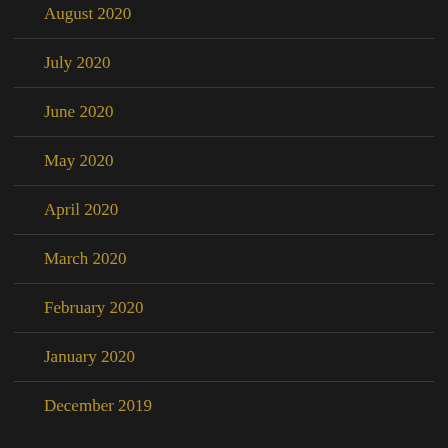August 2020
July 2020
June 2020
May 2020
April 2020
March 2020
February 2020
January 2020
December 2019